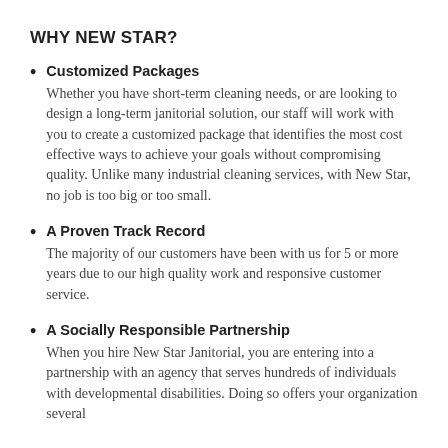WHY NEW STAR?
Customized Packages
Whether you have short-term cleaning needs, or are looking to design a long-term janitorial solution, our staff will work with you to create a customized package that identifies the most cost effective ways to achieve your goals without compromising quality. Unlike many industrial cleaning services, with New Star, no job is too big or too small.
A Proven Track Record
The majority of our customers have been with us for 5 or more years due to our high quality work and responsive customer service.
A Socially Responsible Partnership
When you hire New Star Janitorial, you are entering into a partnership with an agency that serves hundreds of individuals with developmental disabilities. Doing so offers your organization several